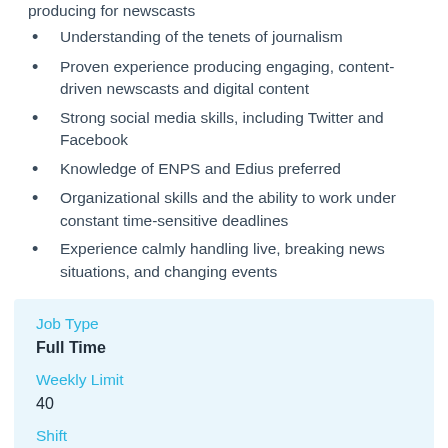producing for newscasts
Understanding of the tenets of journalism
Proven experience producing engaging, content-driven newscasts and digital content
Strong social media skills, including Twitter and Facebook
Knowledge of ENPS and Edius preferred
Organizational skills and the ability to work under constant time-sensitive deadlines
Experience calmly handling live, breaking news situations, and changing events
Job Type
Full Time
Weekly Limit
40
Shift